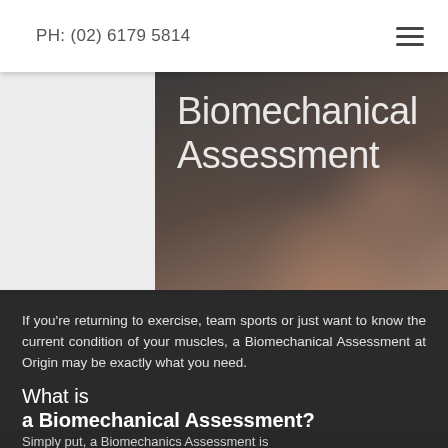PH: (02) 6179 5814
Biomechanical Assessment
[Figure (photo): Blurred close-up photo of a person's neck and shoulder area against a dark background, used as hero image for Biomechanical Assessment page]
If you're returning to exercise, team sports or just want to know the current condition of your muscles, a Biomechanical Assessment at Origin may be exactly what you need.
What is a Biomechanical Assessment?
Simply put, a Biomechanics Assessment is